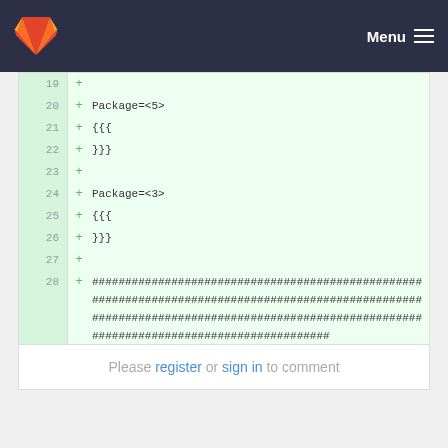GitLab — Menu
[Figure (screenshot): Code diff view showing lines 19-29 with added lines (green background). Lines show: 19 +, 20 + Package=<5>, 21 + {{{, 22 + }}}, 23 +, 24 + Package=<3>, 25 + {{{, 26 + }}}, 27 +, 28 + ############################################################################################################, 29 +]
Please register or sign in to comment